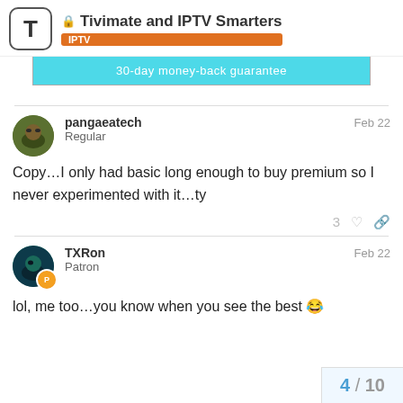Tivimate and IPTV Smarters — IPTV
[Figure (screenshot): Cyan/turquoise ad banner with text '30-day money-back guarantee']
pangaeatech — Regular — Feb 22
Copy…I only had basic long enough to buy premium so I never experimented with it…ty
TXRon — Patron — Feb 22
lol, me too…you know when you see the best 😂
4 / 10